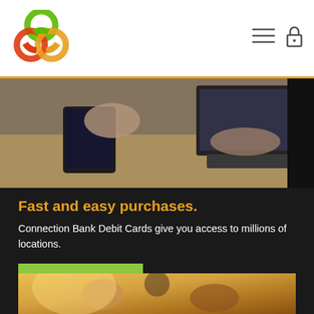[Figure (logo): Connection Bank logo — three overlapping rings in green, red/orange, and yellow/gold forming a trefoil shape]
[Figure (photo): Top banner photo: overhead view of person's hands on laptop keyboard and tablet on a wooden desk]
Fast and easy purchases.
Connection Bank Debit Cards give you access to millions of locations.
Learn More
[Figure (photo): Bottom photo: smiling child with arms raised outdoors in warm golden light]